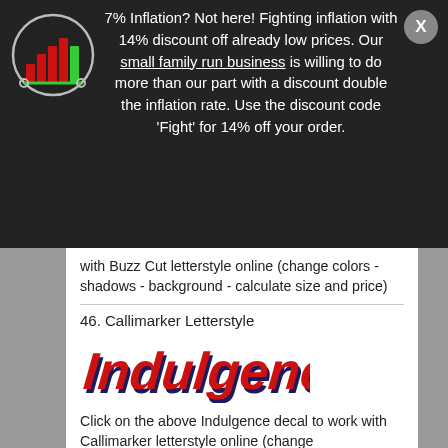[Figure (logo): Bar chart logo inside a circular border showing red bars and a green bar on dark background]
7% Inflation? Not here! Fighting inflation with 14% discount off already low prices. Our small family run business is willing to do more than our part with a discount double the inflation rate. Use the discount code 'Fight' for 14% off your order.
with Buzz Cut letterstyle online (change colors - shadows - background - calculate size and price)
46. Callimarker Letterstyle
[Figure (illustration): Indulgence word rendered in Callimarker letterstyle - red stylized letters with dark shadow on white background]
Click on the above Indulgence decal to work with Callimarker letterstyle online (change